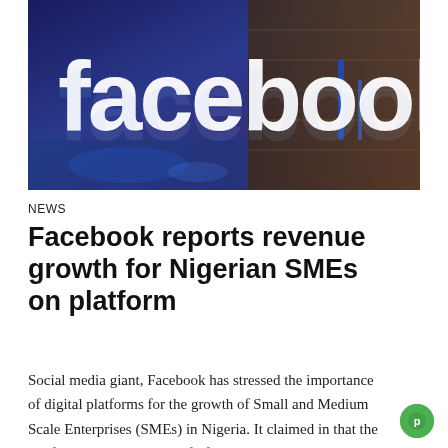[Figure (photo): Facebook logo sign on a building exterior with blue lighting at night]
NEWS
Facebook reports revenue growth for Nigerian SMEs on platform
Social media giant, Facebook has stressed the importance of digital platforms for the growth of Small and Medium Scale Enterprises (SMEs) in Nigeria. It claimed in that the platform has increased profit for users. This is even as the Vice